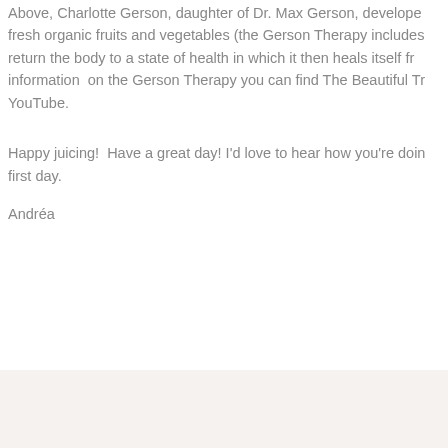Above, Charlotte Gerson, daughter of Dr. Max Gerson, developed fresh organic fruits and vegetables (the Gerson Therapy includes return the body to a state of health in which it then heals itself fr information on the Gerson Therapy you can find The Beautiful Tr YouTube.
Happy juicing!  Have a great day! I'd love to hear how you're doin first day.
Andréa